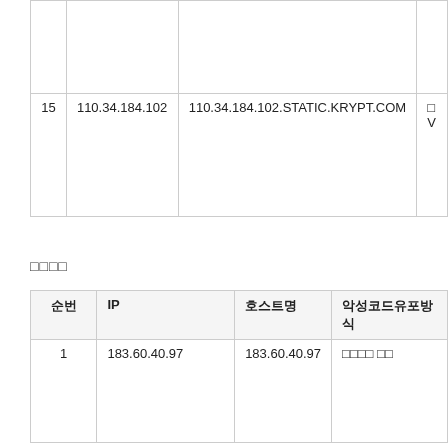| 순번 | IP | 호스트명 | 악성코드유포방식 |
| --- | --- | --- | --- |
|  |  |  |  |
| 15 | 110.34.184.102 | 110.34.184.102.STATIC.KRYPT.COM | □
V |
□□□□
| 순번 | IP | 호스트명 | 악성코드유포방식 |
| --- | --- | --- | --- |
| 1 | 183.60.40.97 | 183.60.40.97 | □□□□ □□ |